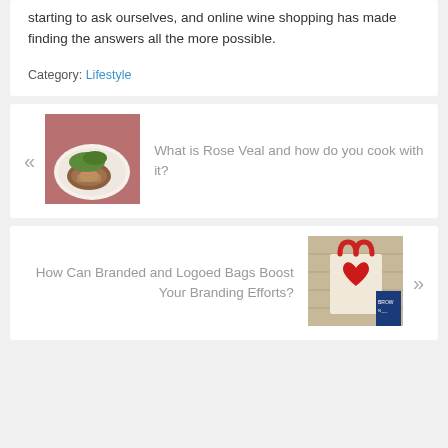starting to ask ourselves, and online wine shopping has made finding the answers all the more possible.
Category: Lifestyle
« What is Rose Veal and how do you cook with it?
[Figure (photo): Photo of a plated dish with meat and greens on a white plate, with pink/red background]
How Can Branded and Logoed Bags Boost Your Branding Efforts? »
[Figure (photo): Photo of a red tote bag with a heart design hanging on a wooden surface, with signage visible]